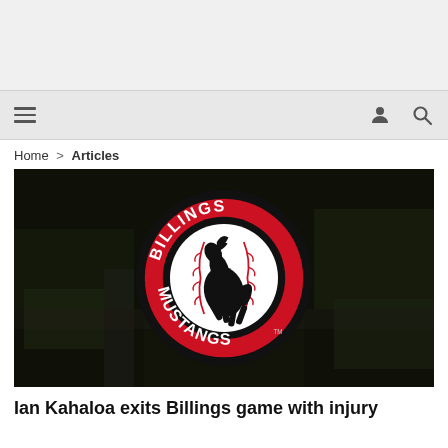[Figure (other): Ad banner / empty grey area at top of page]
Navigation bar with hamburger menu, user icon, and search icon
Home > Articles
[Figure (logo): Billings Mustangs logo — circular red and black badge with a rearing black mustang horse silhouette over a baseball, with 'BILLINGS' arched on top and 'MUSTANGS' arched on bottom, set against an aerial photo background of a baseball stadium]
Ian Kahaloa exits Billings game with injury